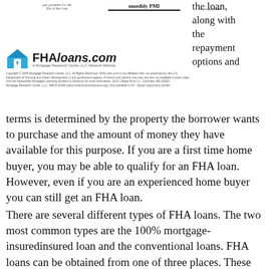[Figure (logo): FHAloans.com logo with house icon and tagline 'A Mortgage Research Center, LLC Network Website', followed by copyright/disclaimer text]
the loan, along with the repayment options and terms is determined by the property the borrower wants to purchase and the amount of money they have available for this purpose. If you are a first time home buyer, you may be able to qualify for an FHA loan. However, even if you are an experienced home buyer you can still get an FHA loan.
There are several different types of FHA loans. The two most common types are the 100% mortgage-insuredinsured loan and the conventional loans. FHA loans can be obtained from one of three places. These places are banks, credit unions, or mortgage companies. Banks will typically not approve loans but